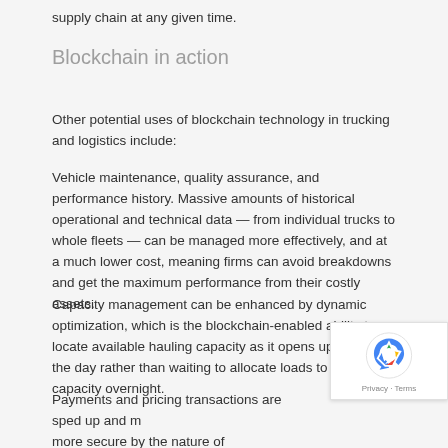supply chain at any given time.
Blockchain in action
Other potential uses of blockchain technology in trucking and logistics include:
Vehicle maintenance, quality assurance, and performance history. Massive amounts of historical operational and technical data — from individual trucks to whole fleets — can be managed more effectively, and at a much lower cost, meaning firms can avoid breakdowns and get the maximum performance from their costly assets.
Capacity management can be enhanced by dynamic optimization, which is the blockchain-enabled ability to locate available hauling capacity as it opens up through the day rather than waiting to allocate loads to available capacity overnight.
Payments and pricing transactions are sped up and m... more secure by the nature of blockchain's distributed ledger. Using paper, or even conventional internet technology creates time lags between when physical